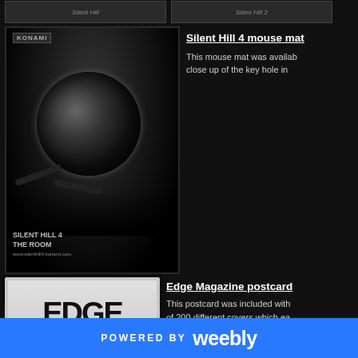[Figure (photo): Two small thumbnail images of Silent Hill merchandise at the top of the page]
[Figure (photo): Silent Hill 4: The Room mouse mat featuring a close-up of a keyhole with chains, Konami logo visible, SILENT HILL 4 THE ROOM text at bottom]
Silent Hill 4 mouse mat
This mouse mat was available close up of the key hole in
[Figure (photo): Edge Magazine postcard showing EDGE magazine cover with large bold EDGE text]
Edge Magazine postcard
This postcard was included with of 200 different covers which ea
I purchased this from ebay! It fea
POWERED BY weebly